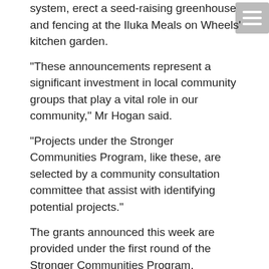system, erect a seed-raising greenhouse and fencing at the Iluka Meals on Wheels' kitchen garden.
“These announcements represent a significant investment in local community groups that play a vital role in our community,” Mr Hogan said.
“Projects under the Stronger Communities Program, like these, are selected by a community consultation committee that assist with identifying potential projects.”
The grants announced this week are provided under the first round of the Stronger Communities Program.
“At the Lismore Basketball Stadium, the grant of more than $12,000 will be used to install a Grid Connected Solar System with the possibility of a battery storage system,” Mr Hogan said.
“Solar Hot Water and Drop Hammer fans will also be installed at either end of the stadium to control airflow and